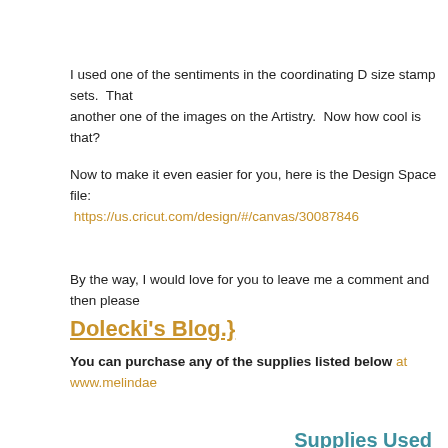I used one of the sentiments in the coordinating D size stamp sets.  That another one of the images on the Artistry.  Now how cool is that?
Now to make it even easier for you, here is the Design Space file:
https://us.cricut.com/design/#/canvas/30087846
By the way, I would love for you to leave me a comment and then please
Dolecki's Blog.}
You can purchase any of the supplies listed below at www.melindae
Supplies Used
InLinkz Project Manager account e
Create from your H
Melinda